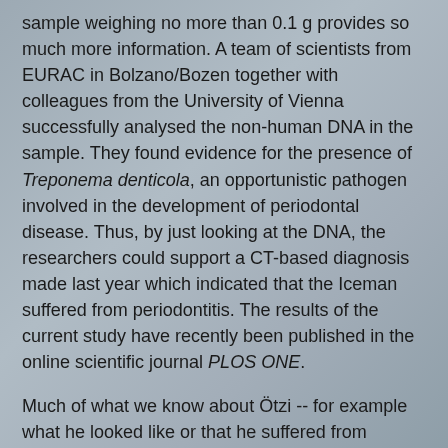sample weighing no more than 0.1 g provides so much more information. A team of scientists from EURAC in Bolzano/Bozen together with colleagues from the University of Vienna successfully analysed the non-human DNA in the sample. They found evidence for the presence of Treponema denticola, an opportunistic pathogen involved in the development of periodontal disease. Thus, by just looking at the DNA, the researchers could support a CT-based diagnosis made last year which indicated that the Iceman suffered from periodontitis. The results of the current study have recently been published in the online scientific journal PLOS ONE.
Much of what we know about Ötzi -- for example what he looked like or that he suffered from lactose intolerance -- stems from a tiny bone sample which allowed the decoding of his genetic make-up. Now, however, the team of scientists have examined more closely the part of the sample consisting of non-human DNA. "What is new is that we did not carry out a directed DNA analysis but rather investigated the whole spectrum of DNA to better understand which organisms are in this sample and what is their potential